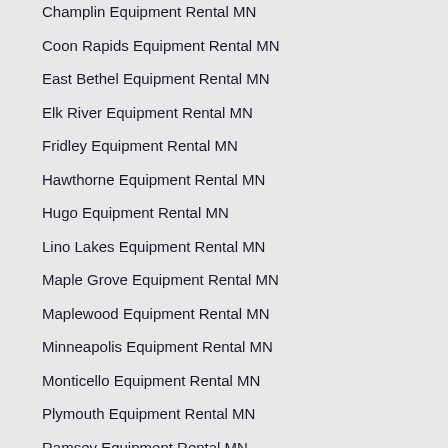Champlin Equipment Rental MN
Coon Rapids Equipment Rental MN
East Bethel Equipment Rental MN
Elk River Equipment Rental MN
Fridley Equipment Rental MN
Hawthorne Equipment Rental MN
Hugo Equipment Rental MN
Lino Lakes Equipment Rental MN
Maple Grove Equipment Rental MN
Maplewood Equipment Rental MN
Minneapolis Equipment Rental MN
Monticello Equipment Rental MN
Plymouth Equipment Rental MN
Ramsey Equipment Rental MN
Rogers Equipment Rental MN
Roseville Equipment Rental MN
Shoreview Equipment Rental MN